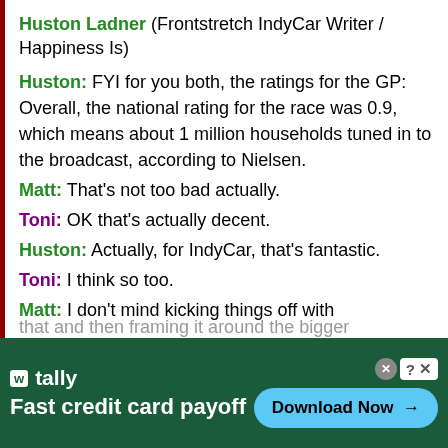Huston Ladner (Frontstretch IndyCar Writer / Happiness Is)
Huston: FYI for you both, the ratings for the GP: Overall, the national rating for the race was 0.9, which means about 1 million households tuned in to the broadcast, according to Nielsen.
Matt: That's not too bad actually.
Toni: OK that's actually decent.
Huston: Actually, for IndyCar, that's fantastic.
Toni: I think so too.
Matt: I don't mind kicking things off with that and then framing it around the bigger
[Figure (screenshot): Advertisement banner for Tally app - Fast credit card payoff with a Download Now button on a dark green background]